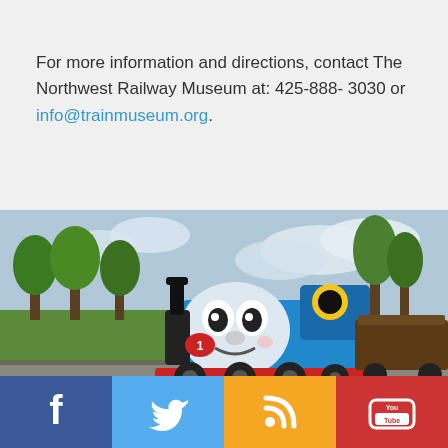For more information and directions, contact The Northwest Railway Museum at: 425-888- 3030 or info@trainmuseum.org.
[Figure (photo): Thomas the Tank Engine (a blue cartoon-faced train) pulling cars along a track, with green trees and cloudy sky in the background.]
Social media links: Facebook, Twitter, RSS, YouTube